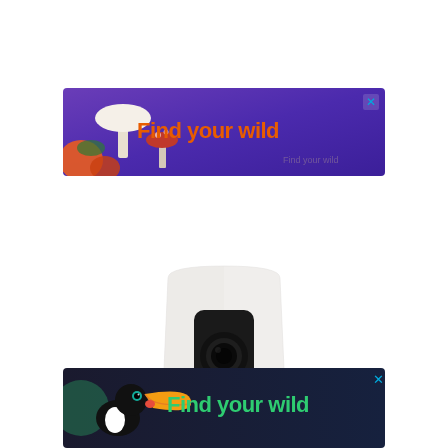[Figure (illustration): Advertisement banner with purple/blue background showing mushrooms on the left side and bold orange text 'Find your wild' on the right, with a close X button in the top right corner]
[Figure (photo): A white cylindrical smart home security camera device with a black rectangular front panel containing a circular camera lens]
[Figure (illustration): Advertisement banner with dark background showing a toucan bird on the left side and bold green text 'Find your wild' on the right, with a close X button in the top right corner]